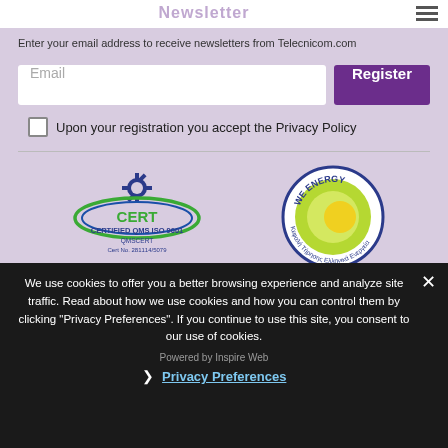Newsletter
Enter your email address to receive newsletters from Telecnicom.com
Email
Register
Upon your registration you accept the Privacy Policy
[Figure (logo): CERT Certified QMS ISO 9001 QMSCERT Cert No. 281114/5079 logo with green ellipse and gear icon]
[Figure (logo): We Energy circular badge logo with green leaf/circle design and Greek text]
We use cookies to offer you a better browsing experience and analyze site traffic. Read about how we use cookies and how you can control them by clicking "Privacy Preferences". If you continue to use this site, you consent to our use of cookies.
Powered by Inspire Web
Privacy Preferences